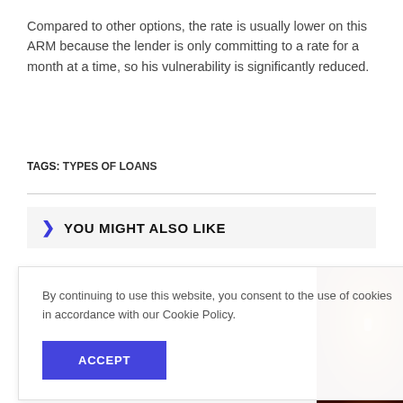Compared to other options, the rate is usually lower on this ARM because the lender is only committing to a rate for a month at a time, so his vulnerability is significantly reduced.
TAGS: TYPES OF LOANS
YOU MIGHT ALSO LIKE
By continuing to use this website, you consent to the use of cookies in accordance with our Cookie Policy.
[Figure (photo): Partial photo of a dark brown cylindrical object with a light-colored dot/button visible, against a light background.]